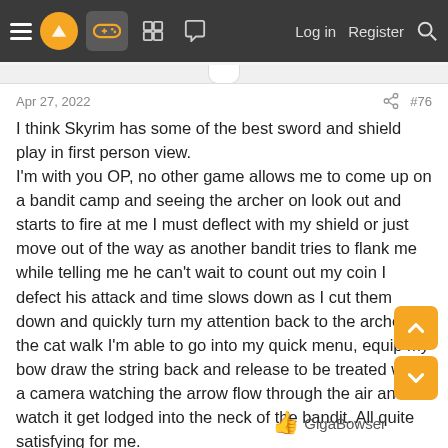Navigation bar with menu, logo, gaming icon, grid icon, chat icon, Log in, Register, Search
Apr 27, 2022  #76
I think Skyrim has some of the best sword and shield play in first person view.
I'm with you OP, no other game allows me to come up on a bandit camp and seeing the archer on look out and starts to fire at me I must deflect with my shield or just move out of the way as another bandit tries to flank me while telling me he can't wait to count out my coin I defect his attack and time slows down as I cut them down and quickly turn my attention back to the archer on the cat walk I'm able to go into my quick menu, equip my bow draw the string back and release to be treated with a camera watching the arrow flow through the air and watch it get lodged into the neck of the bandit. All quite satisfying for me.
GigaBowser